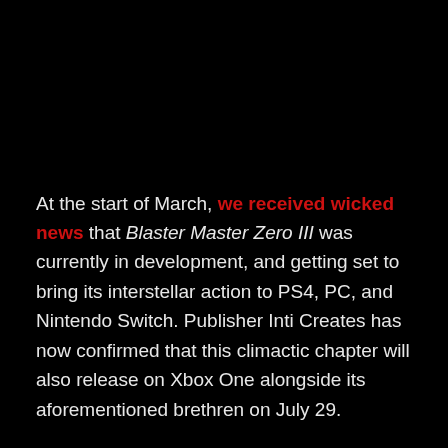At the start of March, we received wicked news that Blaster Master Zero III was currently in development, and getting set to bring its interstellar action to PS4, PC, and Nintendo Switch. Publisher Inti Creates has now confirmed that this climactic chapter will also release on Xbox One alongside its aforementioned brethren on July 29.